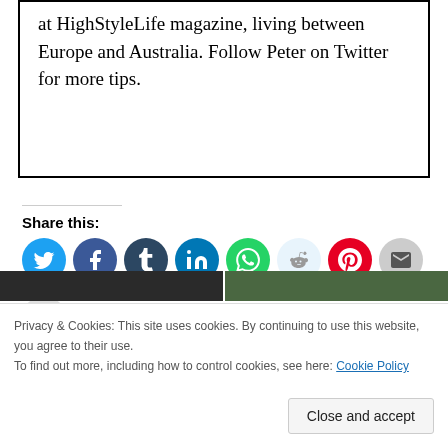at HighStyleLife magazine, living between Europe and Australia. Follow Peter on Twitter for more tips.
Share this:
[Figure (infographic): Row of social share icon buttons: Twitter (light blue), Facebook (dark blue), Tumblr (dark navy), LinkedIn (blue), WhatsApp (green), Reddit (light blue), Pinterest (red), Email (grey), Print (grey)]
Privacy & Cookies: This site uses cookies. By continuing to use this website, you agree to their use.
To find out more, including how to control cookies, see here: Cookie Policy
Close and accept